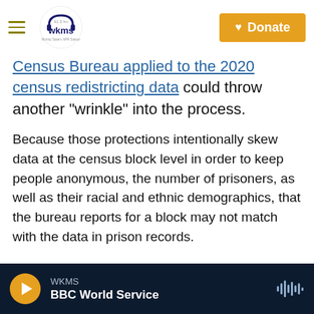WKMS 91.3 fm | Donate
Census Bureau applied to the 2020 census redistricting data could throw another "wrinkle" into the process.
Because those protections intentionally skew data at the census block level in order to keep people anonymous, the number of prisoners, as well as their racial and ethnic demographics, that the bureau reports for a block may not match with the data in prison records.
How state and local redistricting officials deal with that uncertainty when redrawing voting
WKMS | BBC World Service